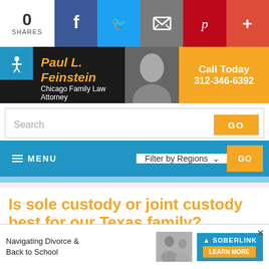[Figure (screenshot): Social sharing bar with 0 shares, Facebook, Twitter, Email, Pinterest, and Plus icons]
[Figure (screenshot): Paul L. Feinstein Chicago Family Law Attorney banner with phone number 312-346-6392 and Call Today button]
[Figure (screenshot): Search bar with GO button]
[Figure (screenshot): Navigation bar with MENU toggle and Filter by Regions dropdown and GO button]
Is sole custody or joint custody best for our Texas family?
When [deciding about custody,]
[Figure (screenshot): Ad overlay: Navigating Divorce & Back to School with Soberlink LEARN MORE button]